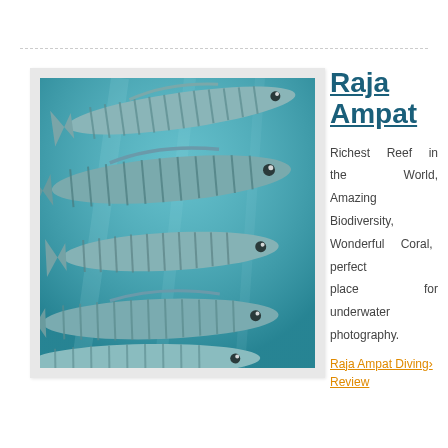[Figure (photo): Underwater photo of a school of barracuda fish swimming in blue water, viewed close-up showing their silver striped bodies and eyes]
Raja Ampat
Richest Reef in the World, Amazing Biodiversity, Wonderful Coral, perfect place for underwater photography.
Raja Ampat Diving Review